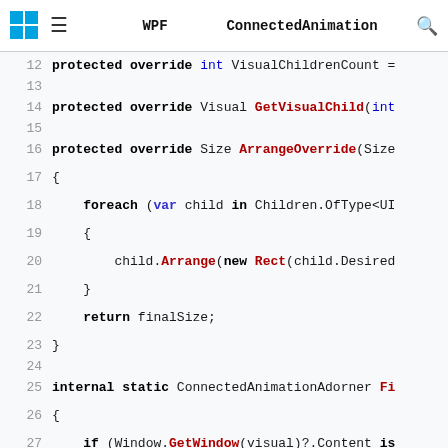WPF ConnectedAnimation
[Figure (screenshot): Code editor showing C# source code lines 12-29 with syntax highlighting, including protected override methods VisualChildrenCount, GetVisualChild, ArrangeOverride with a foreach loop, and internal static ConnectedAnimationAdorner method with if statement and var layer.]